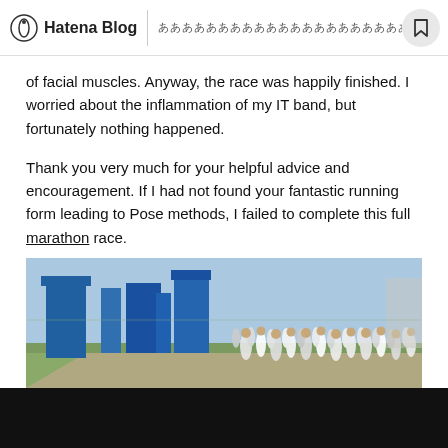Hatena Blog — [URL bar text]
of facial muscles. Anyway, the race was happily finished. I worried about the inflammation of my IT band, but fortunately nothing happened.
Thank you very much for your helpful advice and encouragement. If I had not found your fantastic running form leading to Pose methods, I failed to complete this full marathon race.
Respectfully yours
[Figure (photo): A group of marathon runners running along a road past blue structural towers under a bright sky.]